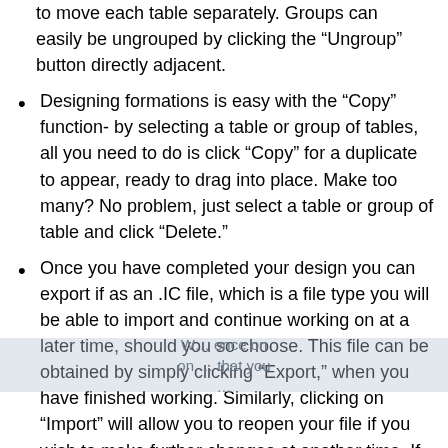to move each table separately. Groups can easily be ungrouped by clicking the “Ungroup” button directly adjacent.
Designing formations is easy with the “Copy” function- by selecting a table or group of tables, all you need to do is click “Copy” for a duplicate to appear, ready to drag into place. Make too many? No problem, just select a table or group of table and click “Delete.”
Once you have completed your design you can export if as an .IC file, which is a file type you will be able to import and continue working on at a later time, should you so choose. This file can be obtained by simply clicking “Export,” when you have finished working. Similarly, clicking on “Import” will allow you to reopen your file if you wish to make further changes at another time. If you would like a PNG (image) or PDF file at any point in your design process simply click on the corresponding button, located underneath your grid. This is a useful